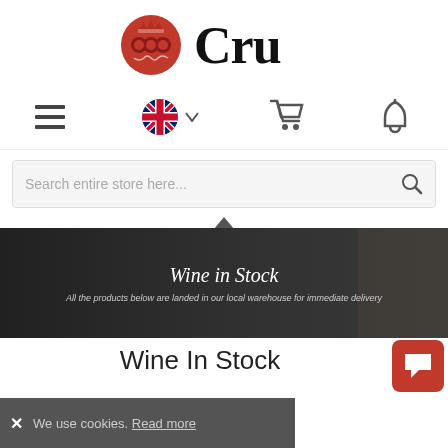[Figure (logo): Cru wine merchant logo: red ornamental emblem on left, 'Cru' in large serif black text on right]
[Figure (screenshot): Navigation bar with hamburger menu icon, UK flag with dropdown arrow, shopping cart icon, and bell notification icon]
[Figure (screenshot): Search bar with placeholder text 'Search entire store here...' and magnifying glass icon]
[Figure (screenshot): Dark banner image showing wine boxes with text 'Wine in Stock' and subtitle 'All the products below are landed in our local warehouse for immediate delivery']
Wine In Stock
We use cookies. Read more